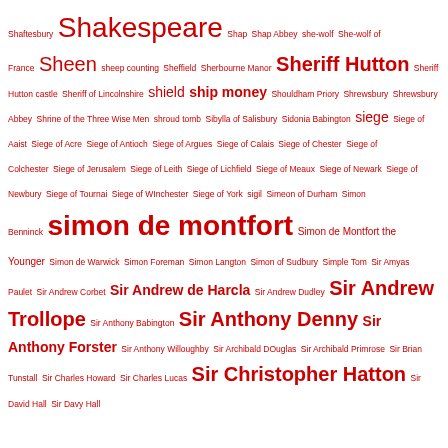Shaftesbury Shakespeare Shap Shap Abbey she-wolf She-wolf of France Sheen sheep counting Sheffield Sherbourne Manor Sheriff Hutton Sheriff Hutton castle Sheriff of Lincolnshire shield ship money Shouldham Priory Shrewsbury Shrewsbury Abbey Shrine of the Three Wise Men shroud tomb Sibylla of Salisbury Sidonia Babington siege Siege of Aaist Siege of Acre Siege of Antioch Siege of Argues Siege of Calais Siege of Chester Siege of Colchester Siege of Jerusalem Siege of Leith Siege of Lichfield Siege of Meaux Siege of Newark Siege of Newbury Siege of Tournai Siege of WInchester Siege of York sigil Simeon of Durham Simon Benninck simon de montfort Simon de Montfort the Younger Simon de Warwick Simon Foreman Simon Langton Simon of Sudbury Simple Tom Sir Amyas Paulet Sir Andrew Corbet Sir Andrew de Harcla Sir Andrew Dudley Sir Andrew Trollope Sir Anthony Babington Sir Anthony Denny Sir Anthony Forster Sir Anthony Willoughby Sir Archibald DOuglas Sir Archibald Primrose Sir Brian Tunstall Sir Charles Howard Sir Charles Lucas Sir Christopher Hatton Sir David Hall Sir Davy Hall